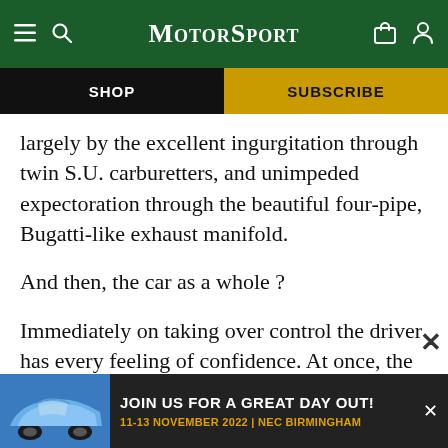Motor Sport
SHOP
SUBSCRIBE
largely by the excellent ingurgitation through twin S.U. carburetters, and unimpeded expectoration through the beautiful four-pipe, Bugatti-like exhaust manifold.
And then, the car as a whole ?
Immediately on taking over control the driver has every feeling of confidence. At once, the car is put through fast open bends at speeds which would even embarrass most Bugattis. The
[Figure (screenshot): Advertisement banner: JOIN US FOR A GREAT DAY OUT! 11-13 NOVEMBER 2022 | NEC BIRMINGHAM, with image of blue Porsche 911]